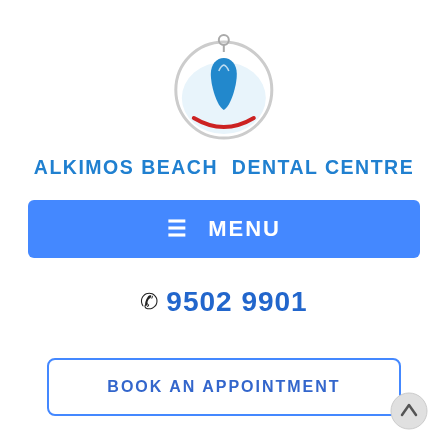[Figure (logo): Alkimos Beach Dental Centre logo: circular emblem with a tooth icon and red arc at bottom]
ALKIMOS BEACH DENTAL CENTRE
≡ MENU
☎ 9502 9901
BOOK AN APPOINTMENT